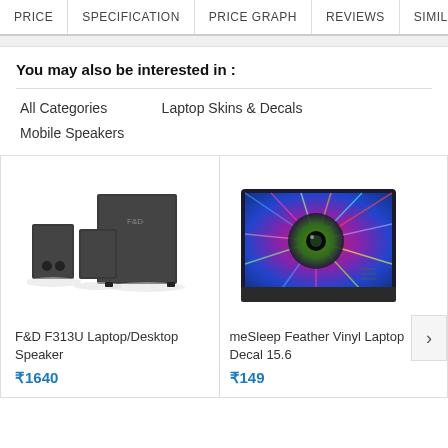PRICE | SPECIFICATION | PRICE GRAPH | REVIEWS | SIMILAR PR
You may also be interested in :
All Categories
Laptop Skins & Decals
Mobile Speakers
[Figure (photo): F&D F313U laptop/desktop speaker system with two satellite speakers and a subwoofer]
F&D F313U Laptop/Desktop Speaker
₹1640
[Figure (photo): meSleep Feather Vinyl Laptop Decal 15.6 showing a colorful peacock feather design on a laptop]
meSleep Feather Vinyl Laptop Decal 15.6
₹149